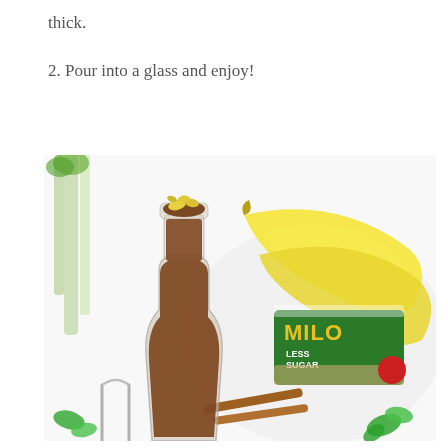thick.
2. Pour into a glass and enjoy!
[Figure (photo): A glass bottle filled with a chocolate Milo smoothie topped with banana pieces, surrounded by a banana, a Milo Less Sugar sachet, cinnamon sticks, celery stalks, and mint leaves on a white tray.]